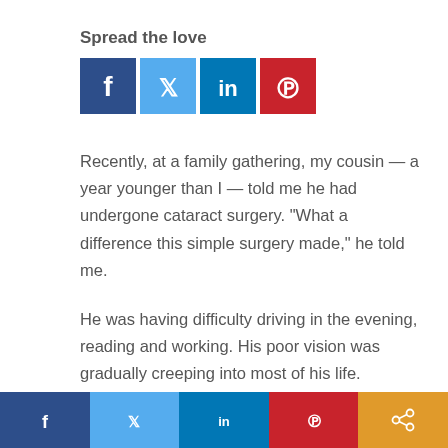Spread the love
[Figure (infographic): Social media sharing buttons: Facebook (dark blue), Twitter (light blue), LinkedIn (dark blue), Pinterest (red)]
Recently, at a family gathering, my cousin — a year younger than I — told me he had undergone cataract surgery. “What a difference this simple surgery made,” he told me.
He was having difficulty driving in the evening, reading and working. His poor vision was gradually creeping into most of his life.
It reminded me of the surgeon...
[Figure (infographic): Bottom share bar with Facebook, Twitter, LinkedIn, Pinterest, and Share icons]